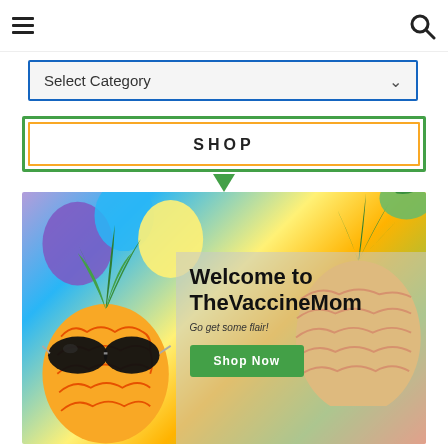☰ [hamburger menu] | [search icon]
Select Category
SHOP
[Figure (photo): Hero banner image with pineapples wearing sunglasses against a colorful balloon background, with a semi-transparent overlay containing text 'Welcome to TheVaccineMom', 'Go get some flair!', and a green 'Shop Now' button.]